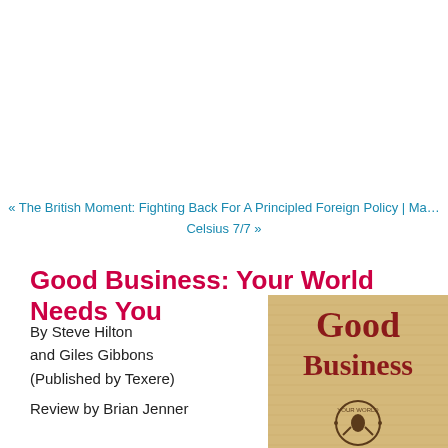« The British Moment: Fighting Back For A Principled Foreign Policy | Ma… Celsius 7/7 »
Good Business: Your World Needs You
By Steve Hilton and Giles Gibbons (Published by Texere)
Review by Brian Jenner
[Figure (illustration): Book cover of 'Good Business: Your World Needs You' showing the title in red text on a tan/burlap background with a circular emblem at the bottom showing a figure with 'YOUR WORLD' text]